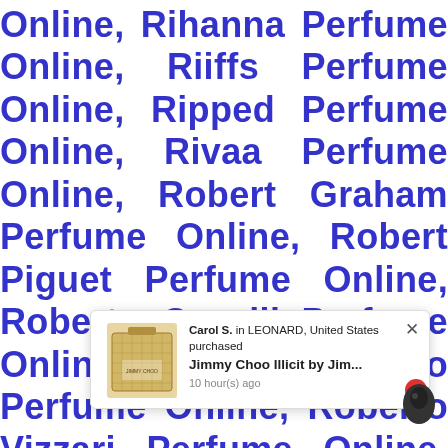Online, Rihanna Perfume Online, Riiffs Perfume Online, Ripped Perfume Online, Rivaa Perfume Online, Robert Graham Perfume Online, Robert Piguet Perfume Online, Roberto Cavalli Perfume Online, Roberto Verino Perfume Online, Roberto Vizzari Perfume Online, Roccobarocco Perfume Online, Rochas Perfume Online, Roger & Gallet Perfume Online, Rohana Perfume Online, Roja Parfums Perfume Online, Romeo Gigli Perfume Online, Ron Marone Perfume Online, Royal Copenhagen Perfume Online, Royall Frances Perfume... cotton, Rudra... S. Oliver Perfume Online, S. Zansev Perfume Online, ST Dupont Perfume Online, Sabya...
[Figure (screenshot): A popup notification showing a product purchase: Carol S. in LEONARD, United States purchased Jimmy Choo Illicit by Jim... 10 hour(s) ago. Includes a product image of a perfume bottle.]